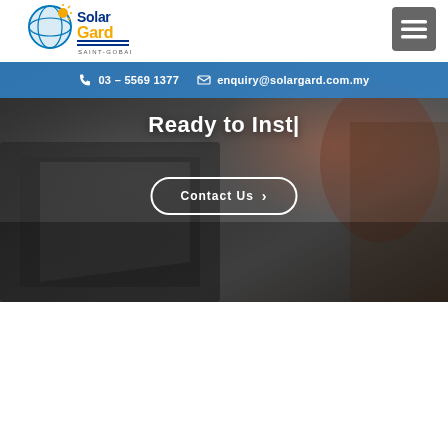[Figure (logo): Solar Gard Saint-Gobain logo with globe and yellow/blue branding]
[Figure (other): Hamburger menu icon (three horizontal white lines on dark grey background)]
03 – 5569 1377
enquiry@solargard.com.my
[Figure (photo): Dark background hero image showing a person applying window tint film to a car window, with a heat gun visible on the right side]
Ready to Inst|
Contact Us ›